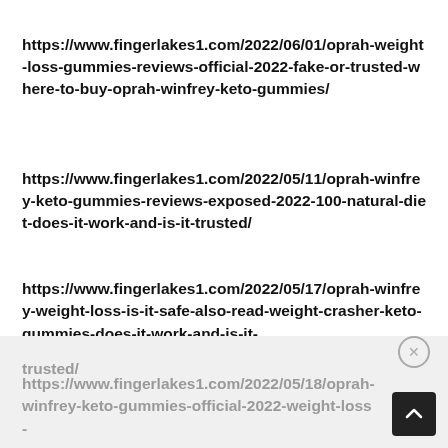https://www.fingerlakes1.com/2022/06/01/oprah-weight-loss-gummies-reviews-official-2022-fake-or-trusted-where-to-buy-oprah-winfrey-keto-gummies/
https://www.fingerlakes1.com/2022/05/11/oprah-winfrey-keto-gummies-reviews-exposed-2022-100-natural-diet-does-it-work-and-is-it-trusted/
https://www.fingerlakes1.com/2022/05/17/oprah-winfrey-weight-loss-is-it-safe-also-read-weight-crasher-keto-gummies-does-it-work-and-is-it-trusted/
https://www.fingerlakes1.com/2022/05/18/oprah-winfrey-keto-gummies-official-2022-weight-loss-